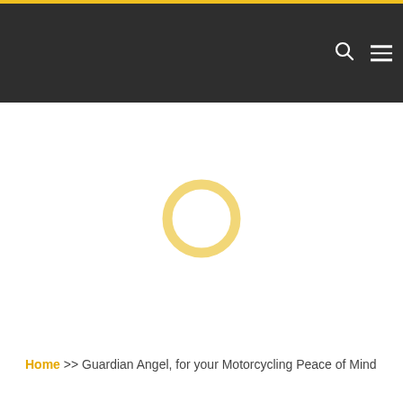Navigation bar with search and menu icons
[Figure (other): Loading spinner - a golden/yellow circular ring loading indicator centered on the page]
Home >> Guardian Angel, for your Motorcycling Peace of Mind